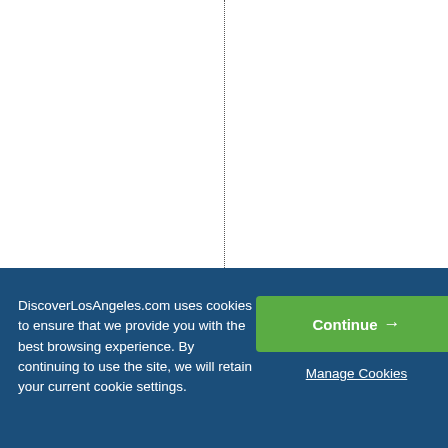exico(#4)andPort
DiscoverLosAngeles.com uses cookies to ensure that we provide you with the best browsing experience. By continuing to use the site, we will retain your current cookie settings.
Continue →
Manage Cookies